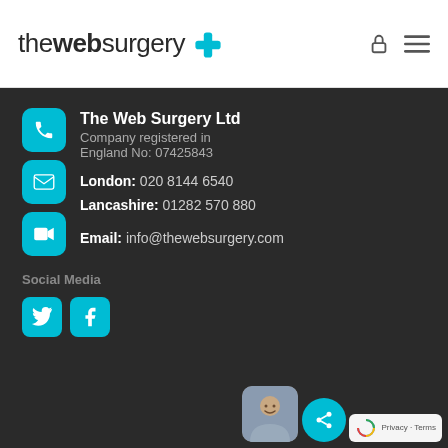[Figure (logo): The Web Surgery logo with cyan cross/plus icon and text 'thewebsurgery+', plus lock and hamburger menu icons]
The Web Surgery Ltd
Company registered in England No: 07425843
London: 020 8144 6540
Lancashire: 01282 570 880
Email: info@thewebsurgery.com
Social Media
[Figure (logo): Twitter and Facebook social media icon buttons in cyan]
[Figure (photo): Small thumbnail photo of a person smiling]
[Figure (other): Cyan circular share/connect button and reCAPTCHA badge with Privacy - Terms text]